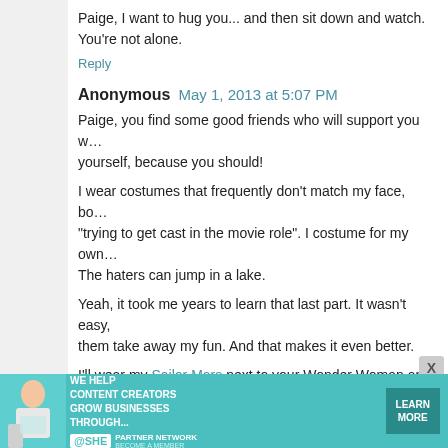Paige, I want to hug you... and then sit down and watch. You're not alone.
Reply
Anonymous May 1, 2013 at 5:07 PM
Paige, you find some good friends who will support you w... yourself, because you should!
I wear costumes that frequently don't match my face, bo... "trying to get cast in the movie role". I costume for my own... The haters can jump in a lake.
Yeah, it took me years to learn that last part. It wasn't easy, them take away my fun. And that makes it even better.
I'll wear my Sailor Mars next to your Wonder Woman any da...
Yours, Michael
Reply
Replies
Sarah (wonderstrumpet) May 1, 2013 at 9:...
[Figure (infographic): Advertisement banner for SHE Partner Network: 'We help content creators grow businesses through...' with Learn More button]